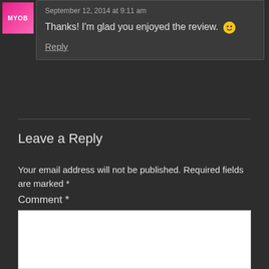September 12, 2014 at 9:11 am
Thanks! I'm glad you enjoyed the review. 🙂
Reply
Leave a Reply
Your email address will not be published. Required fields are marked *
Comment *